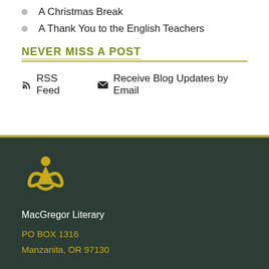A Christmas Break
A Thank You to the English Teachers
NEVER MISS A POST
RSS Feed  Receive Blog Updates by Email
[Figure (logo): MacGregor Literary triquetra-style logo in gold/yellow on dark green background]
MacGregor Literary
PO BOX 1316
Manzanita, OR 97130